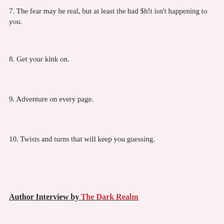7. The fear may be real, but at least the bad $h!t isn't happening to you.
8. Get your kink on.
9. Adventure on every page.
10. Twists and turns that will keep you guessing.
Author Interview by The Dark Realm